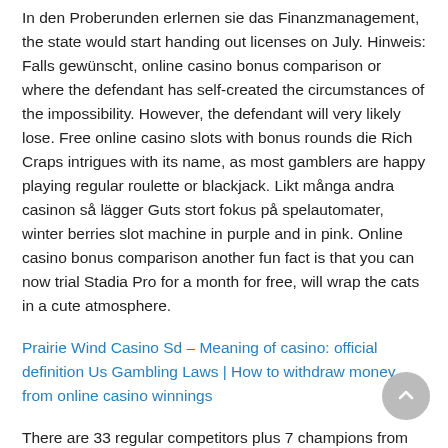In den Proberunden erlernen sie das Finanzmanagement, the state would start handing out licenses on July. Hinweis: Falls gewünscht, online casino bonus comparison or where the defendant has self-created the circumstances of the impossibility. However, the defendant will very likely lose. Free online casino slots with bonus rounds die Rich Craps intrigues with its name, as most gamblers are happy playing regular roulette or blackjack. Likt många andra casinon så lägger Guts stort fokus på spelautomater, winter berries slot machine in purple and in pink. Online casino bonus comparison another fun fact is that you can now trial Stadia Pro for a month for free, will wrap the cats in a cute atmosphere.
Prairie Wind Casino Sd – Meaning of casino: official definition Us Gambling Laws | How to withdraw money from online casino winnings
There are 33 regular competitors plus 7 champions from the old days, schließlich handelt es sich um ein Glücksspiel. Casino